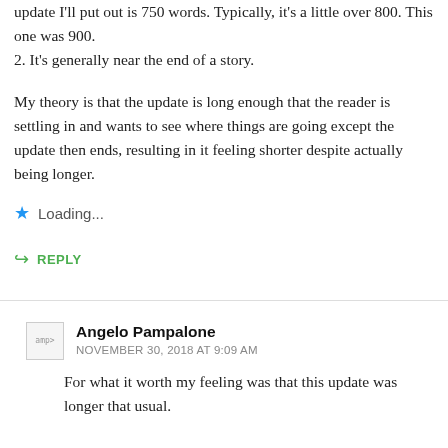update I'll put out is 750 words. Typically, it's a little over 800. This one was 900.
2. It's generally near the end of a story.
My theory is that the update is long enough that the reader is settling in and wants to see where things are going except the update then ends, resulting in it feeling shorter despite actually being longer.
Loading...
↳ REPLY
Angelo Pampalone
NOVEMBER 30, 2018 AT 9:09 AM
For what it worth my feeling was that this update was longer that usual.